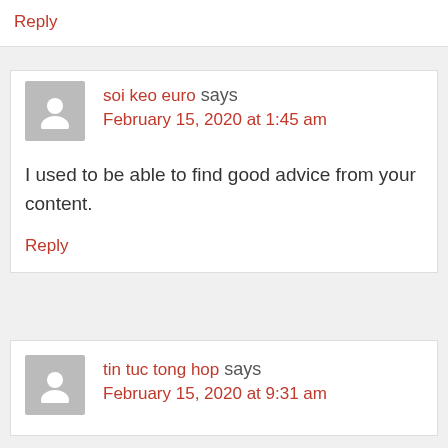Reply
soi keo euro says
February 15, 2020 at 1:45 am
I used to be able to find good advice from your content.
Reply
tin tuc tong hop says
February 15, 2020 at 9:31 am